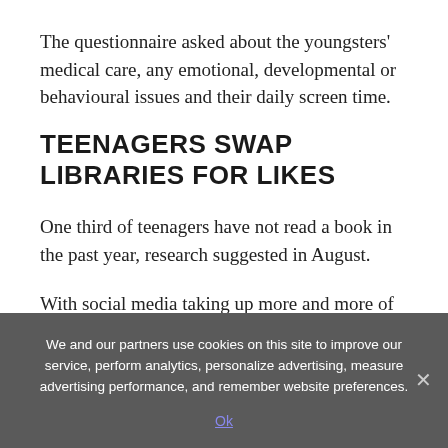The questionnaire asked about the youngsters' medical care, any emotional, developmental or behavioural issues and their daily screen time.
TEENAGERS SWAP LIBRARIES FOR LIKES
One third of teenagers have not read a book in the past year, research suggested in August.
With social media taking up more and more of an adolescent's time, just 16 per cent of those aged
We and our partners use cookies on this site to improve our service, perform analytics, personalize advertising, measure advertising performance, and remember website preferences.